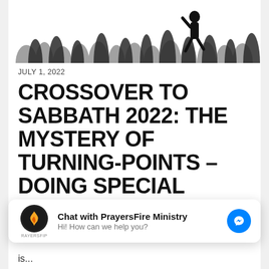[Figure (illustration): Silhouette illustration of a crowd of people running/celebrating, grayscale, cut off at top]
JULY 1, 2022
CROSSOVER TO SABBATH 2022: THE MYSTERY OF TURNING-POINTS – DOING SPECIAL THINGS ON SPECIAL DAYS
18689. THE MYSTERY OF TURNING-POINTS:
[Figure (other): Chat widget overlay: PrayersFire Ministry logo (flame icon), brand label RAYERSFIP, Chat title 'Chat with PrayersFire Ministry', subtitle 'Hi! How can we help you?', Messenger icon button]
is...